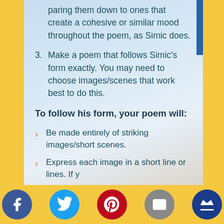paring them down to ones that create a cohesive or similar mood throughout the poem, as Simic does.
3. Make a poem that follows Simic's form exactly. You may need to choose images/scenes that work best to do this.
To follow his form, your poem will:
Be made entirely of striking images/short scenes.
Express each image in a short line or lines. If you want to completely follow his